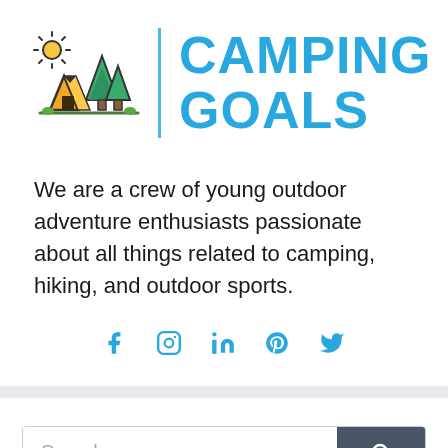[Figure (logo): Camping Goals logo: camping scene icon with sun, tent, and pine trees in orange, yellow, and green, beside a blue vertical divider bar, followed by 'CAMPING GOALS' in bold blue text]
We are a crew of young outdoor adventure enthusiasts passionate about all things related to camping, hiking, and outdoor sports.
[Figure (infographic): Row of five social media icons in blue: Facebook (f), Instagram (camera), LinkedIn (in), Pinterest (P), Twitter (bird)]
[Figure (other): Search bar with placeholder text 'Search ...' and a dark grey button with a magnifying glass icon]